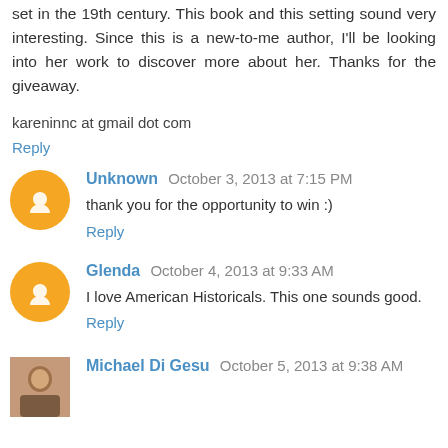set in the 19th century. This book and this setting sound very interesting. Since this is a new-to-me author, I'll be looking into her work to discover more about her. Thanks for the giveaway.
kareninnc at gmail dot com
Reply
Unknown  October 3, 2013 at 7:15 PM
thank you for the opportunity to win :)
Reply
Glenda  October 4, 2013 at 9:33 AM
I love American Historicals. This one sounds good.
Reply
Michael Di Gesu  October 5, 2013 at 9:38 AM